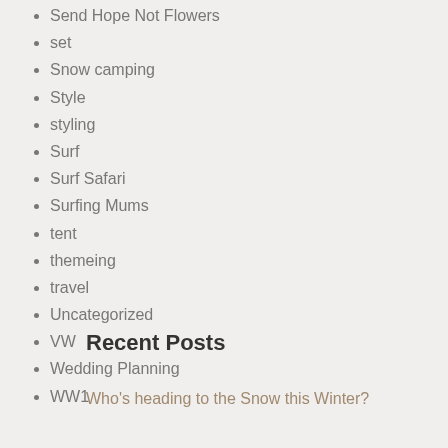Send Hope Not Flowers
set
Snow camping
Style
styling
Surf
Surf Safari
Surfing Mums
tent
themeing
travel
Uncategorized
VW
Wedding Planning
WW1
Recent Posts
Who's heading to the Snow this Winter?